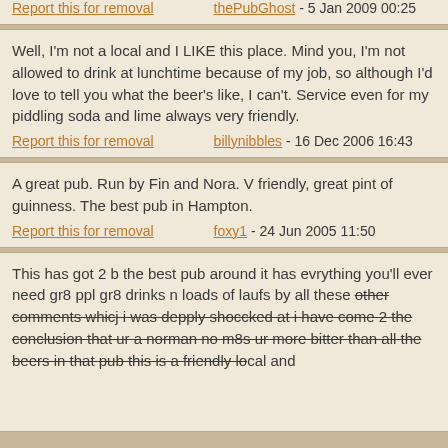It's not a Pub, it's like a Catholic Club!
Report this for removal    thePubGhost - 5 Jan 2009 00:25
Well, I'm not a local and I LIKE this place. Mind you, I'm not allowed to drink at lunchtime because of my job, so although I'd love to tell you what the beer's like, I can't. Service even for my piddling soda and lime always very friendly.
Report this for removal    billynibbles - 16 Dec 2006 16:43
A great pub. Run by Fin and Nora. V friendly, great pint of guinness. The best pub in Hampton.
Report this for removal    foxy1 - 24 Jun 2005 11:50
This has got 2 b the best pub around it has evrything you'll ever need gr8 ppl gr8 drinks n loads of laufs by all these other comments whicj i was depply shoccked at i have come 2 the conclusion that ur a norman no m8s ur more bitter than all the beers in that pub this is a friendly local and